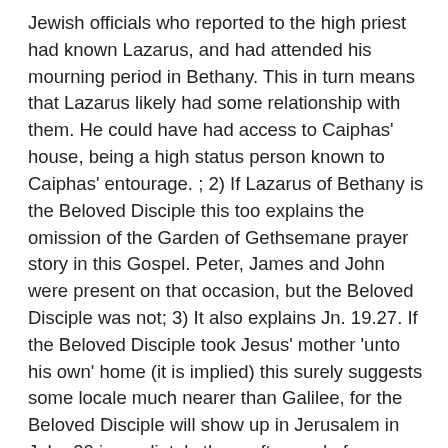Jewish officials who reported to the high priest had known Lazarus, and had attended his mourning period in Bethany. This in turn means that Lazarus likely had some relationship with them. He could have had access to Caiphas' house, being a high status person known to Caiphas' entourage. ; 2) If Lazarus of Bethany is the Beloved Disciple this too explains the omission of the Garden of Gethsemane prayer story in this Gospel. Peter, James and John were present on that occasion, but the Beloved Disciple was not; 3) It also explains Jn. 19.27. If the Beloved Disciple took Jesus' mother 'unto his own' home (it is implied) this surely suggests some locale much nearer than Galilee, for the Beloved Disciple will show up in Jerusalem in John 20 immediately there after, and of course Mary is still there, according to Acts 1.14 well after the crucifixion and resurrection of her son. 4) How is it that the Beloved Disciple gets to the tomb of Jesus in Jn. 20 before Peter? Perhaps because he knows the locale, indeed knows Joseph of Arimathea and Nicodemus, being one who lived near and spent much time in Jerusalem. One more thing about John 20.2 which Tom Thatcher kindly reminded me of—here the designation of our man is a double one—he is called both